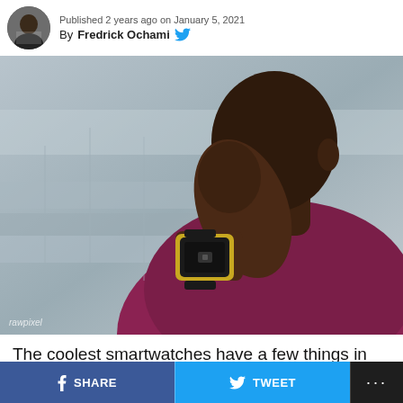Published 2 years ago on January 5, 2021
By Fredrick Ochami
[Figure (photo): A man wearing a smartwatch with a yellow/gold frame and dark face, wearing a maroon shirt, hand raised to chin in a thoughtful pose. Background is blurred urban setting. Watermark: rawpixel]
The coolest smartwatches have a few things in common:
SHARE   TWEET   ...